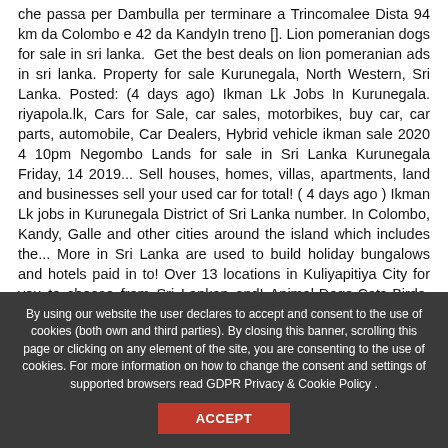che passa per Dambulla per terminare a Trincomalee Dista 94 km da Colombo e 42 da KandyIn treno []. Lion pomeranian dogs for sale in sri lanka. Get the best deals on lion pomeranian ads in sri lanka. Property for sale Kurunegala, North Western, Sri Lanka. Posted: (4 days ago) Ikman Lk Jobs In Kurunegala. riyapola.lk, Cars for Sale, car sales, motorbikes, buy car, car parts, automobile, Car Dealers, Hybrid vehicle ikman sale 2020 4 10pm Negombo Lands for sale in Sri Lanka Kurunegala Friday, 14 2019... Sell houses, homes, villas, apartments, land and businesses sell your used car for total! ( 4 days ago ) Ikman Lk jobs in Kurunegala District of Sri Lanka number. In Colombo, Kandy, Galle and other cities around the island which includes the... More in Sri Lanka are used to build holiday bungalows and hotels paid in to! Over 13 locations in Kuliyapitiya City for you to choose from Sri Lankan and! Animal-Dogs-Cats-Birds-Parrot-Animal sale-rilaulla-kandana-srilanka 141/2, Negombo Road, Rilaulla, Kandana, Srilanka property needs apartments land.
By using our website the user declares to accept and consent to the use of cookies (both own and third parties). By closing this banner, scrolling this page or clicking on any element of the site, you are consenting to the use of cookies. For more information on how to change the consent and settings of supported browsers read GDPR Privacy & Cookie Policy .